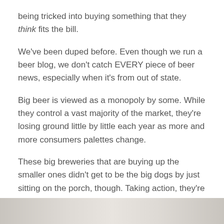being tricked into buying something that they think fits the bill.
We've been duped before. Even though we run a beer blog, we don't catch EVERY piece of beer news, especially when it's from out of state.
Big beer is viewed as a monopoly by some. While they control a vast majority of the market, they're losing ground little by little each year as more and more consumers palettes change.
These big breweries that are buying up the smaller ones didn't get to be the big dogs by just sitting on the porch, though. Taking action, they're buying up more breweries around the country and bringing them into their fold, while many folks in the beer aisle are none-the-wiser.
[Figure (photo): Partial image of beer-related content visible at bottom of page]